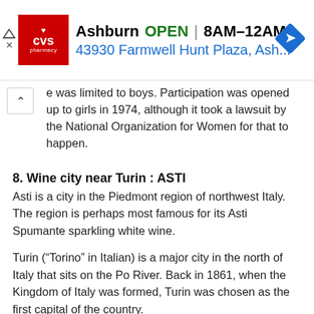[Figure (infographic): CVS Pharmacy advertisement banner showing store location in Ashburn, OPEN 8AM-12AM, address 43930 Farmwell Hunt Plaza, Ash... with CVS logo and navigation icon]
e was limited to boys. Participation was opened up to girls in 1974, although it took a lawsuit by the National Organization for Women for that to happen.
8. Wine city near Turin : ASTI
Asti is a city in the Piedmont region of northwest Italy. The region is perhaps most famous for its Asti Spumante sparkling white wine.
Turin (“Torino” in Italian) is a major city in the north of Italy that sits on the Po River. Back in 1861, when the Kingdom of Italy was formed, Turin was chosen as the first capital of the country.
9. Ends a prayer : SAYS “AMEN”
The word “amen” translates as “so be it”. “Amen” is said to